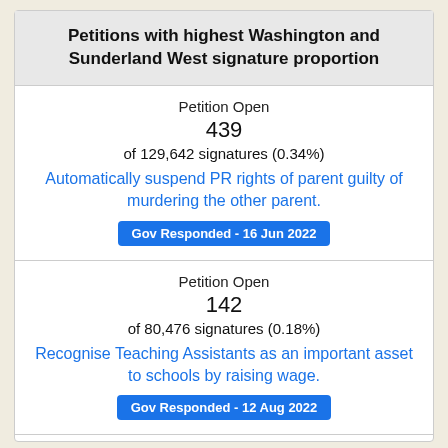Petitions with highest Washington and Sunderland West signature proportion
Petition Open
439
of 129,642 signatures (0.34%)
Automatically suspend PR rights of parent guilty of murdering the other parent.
Gov Responded - 16 Jun 2022
Petition Open
142
of 80,476 signatures (0.18%)
Recognise Teaching Assistants as an important asset to schools by raising wage.
Gov Responded - 12 Aug 2022
Petition Open
211